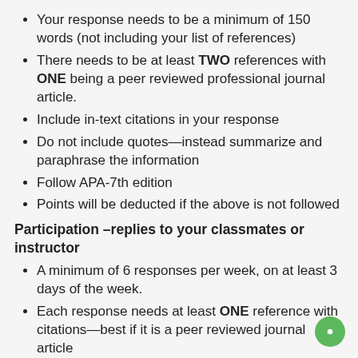Your response needs to be a minimum of 150 words (not including your list of references)
There needs to be at least TWO references with ONE being a peer reviewed professional journal article.
Include in-text citations in your response
Do not include quotes—instead summarize and paraphrase the information
Follow APA-7th edition
Points will be deducted if the above is not followed
Participation –replies to your classmates or instructor
A minimum of 6 responses per week, on at least 3 days of the week.
Each response needs at least ONE reference with citations—best if it is a peer reviewed journal article
Each response needs to be at least 75 words in